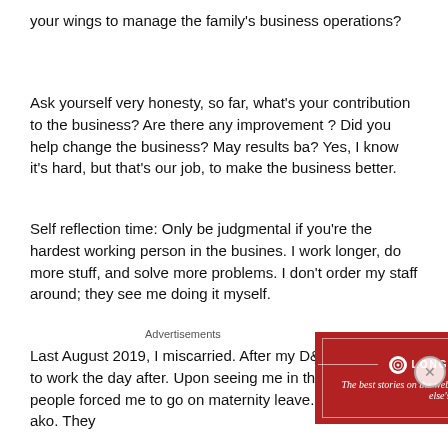your wings to manage the family's business operations?
Ask yourself very honesty, so far, what's your contribution to the business? Are there any improvement ? Did you help change the business? May results ba? Yes, I know it's hard, but that's our job, to make the business better.
Self reflection time: Only be judgmental if you're the hardest working person in the busines. I work longer, do more stuff, and solve more problems. I don't order my staff around; they see me doing it myself.
Last August 2019, I miscarried. After my D&C, I still went to work the day after. Upon seeing me in the office, my people forced me to go on maternity leave. Pinauwi nila ako. They
Advertisements
[Figure (other): Longreads advertisement banner: red background with Longreads logo and tagline 'The best stories on the web — ours, and everyone else's.']